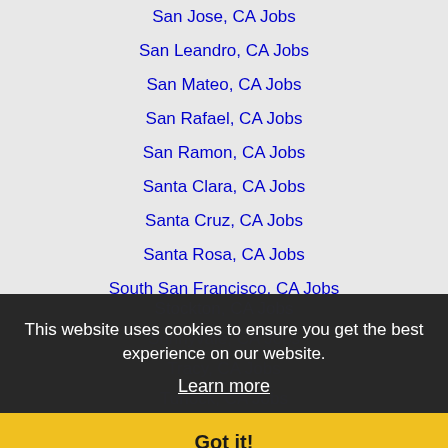San Jose, CA Jobs
San Leandro, CA Jobs
San Mateo, CA Jobs
San Rafael, CA Jobs
San Ramon, CA Jobs
Santa Clara, CA Jobs
Santa Cruz, CA Jobs
Santa Rosa, CA Jobs
South San Francisco, CA Jobs
Stockton, CA Jobs
Sunnyvale, CA Jobs
Tracy, CA Jobs
Turlock, CA Jobs
Union City, CA Jobs
Vacaville, CA Jobs
Vallejo, CA Jobs
Walnut Creek, CA Jobs
Watsonville, CA Jobs
This website uses cookies to ensure you get the best experience on our website.
Learn more
Got it!